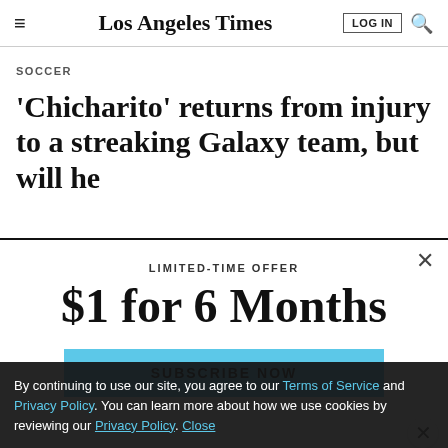Los Angeles Times
SOCCER
‘Chicharito’ returns from injury to a streaking Galaxy team, but will he
LIMITED-TIME OFFER
$1 for 6 Months
SUBSCRIBE NOW
By continuing to use our site, you agree to our Terms of Service and Privacy Policy. You can learn more about how we use cookies by reviewing our Privacy Policy. Close